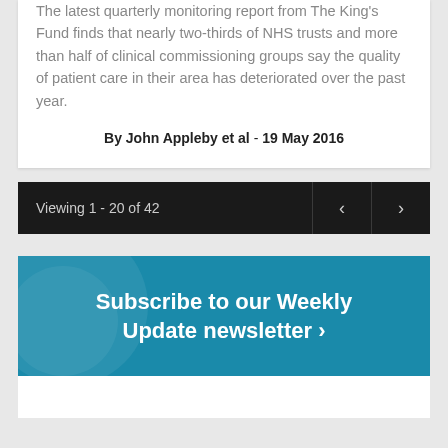The latest quarterly monitoring report from The King's Fund finds that nearly two-thirds of NHS trusts and more than half of clinical commissioning groups say the quality of patient care in their area has deteriorated over the past year.
By John Appleby et al - 19 May 2016
Viewing 1 - 20 of 42
Subscribe to our Weekly Update newsletter ›